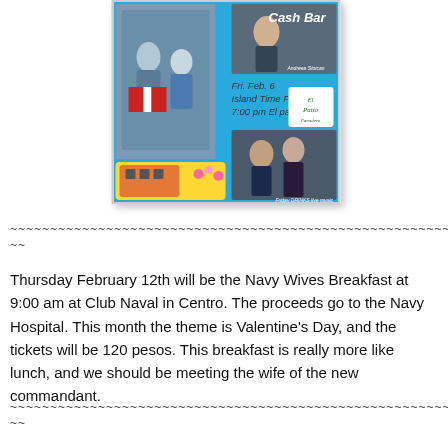[Figure (illustration): Event flyer with blue background showing photos of performers, text 'Cash Bar', 'Fri. Feb. 6 Island Time Fiesta 7:00 pm El patio', 'American Young Jon Stone & Kristy Osmunson', and a logo for 'El Patio' restaurant.]
~~~~~~~~~~~~~~~~~~~~~~~~~~~~~~~~~~~~~~~~~~~~~~~~~~~~~~~~~~~~ ~~
Thursday February 12th will be the Navy Wives Breakfast at 9:00 am at Club Naval in Centro. The proceeds go to the Navy Hospital. This month the theme is Valentine's Day, and the tickets will be 120 pesos. This breakfast is really more like lunch, and we should be meeting the wife of the new commandant.
~~~~~~~~~~~~~~~~~~~~~~~~~~~~~~~~~~~~~~~~~~~~~~~~~~~~~~~~~~~~ ~~